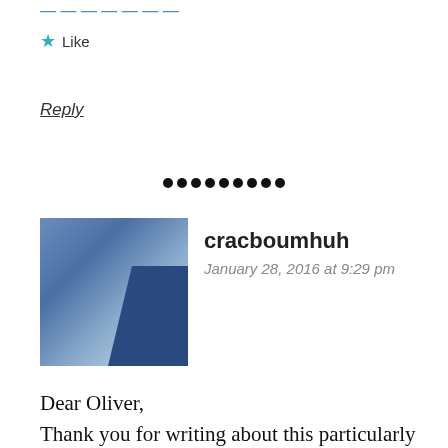Like
Reply
cracboumhuh
January 28, 2016 at 9:29 pm
Dear Oliver,
Thank you for writing about this particularly sorry subject. Ugh! That freakin duck face! To honestly answer your question though I did go through the